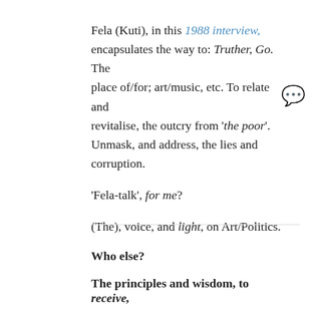Fela (Kuti), in this 1988 interview, encapsulates the way to: Truther, Go. The place of/for; art/music, etc. To relate and revitalise, the outcry from 'the poor'. Unmask, and address, the lies and corruption.
'Fela-talk', for me?
(The), voice, and light, on Art/Politics.
Who else?
The principles and wisdom, to receive,